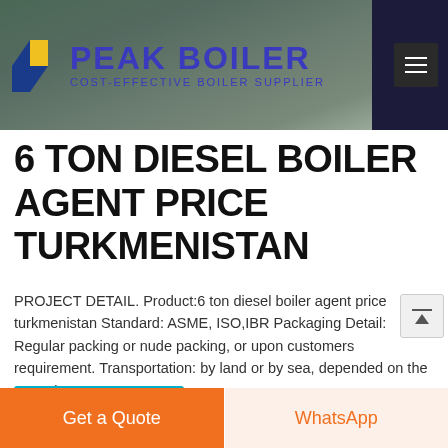PEAK BOILER - COST-EFFECTIVE BOILER SUPPLIER
[Figure (photo): Hero image showing a boiler installation facility with dark background, industrial equipment visible]
6 TON DIESEL BOILER AGENT PRICE TURKMENISTAN
PROJECT DETAIL. Product:6 ton diesel boiler agent price turkmenistan Standard: ASME, ISO,IBR Packaging Detail: Regular packing or nude packing, or upon customers requirement. Transportation: by land or by sea, depended on the exporting …
learn More
Get a Quote
WhatsApp